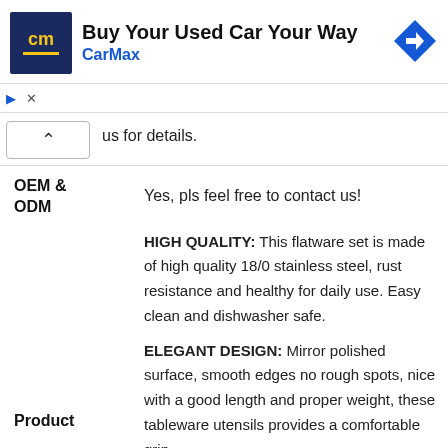[Figure (screenshot): CarMax advertisement banner with logo, headline 'Buy Your Used Car Your Way', CarMax brand name in blue, and a blue navigation arrow icon]
us for details.
OEM & ODM
Yes, pls feel free to contact us!
HIGH QUALITY: This flatware set is made of high quality 18/0 stainless steel, rust resistance and healthy for daily use. Easy clean and dishwasher safe.
ELEGANT DESIGN: Mirror polished surface, smooth edges no rough spots, nice with a good length and proper weight, these tableware utensils provides a comfortable grip
Product Feature